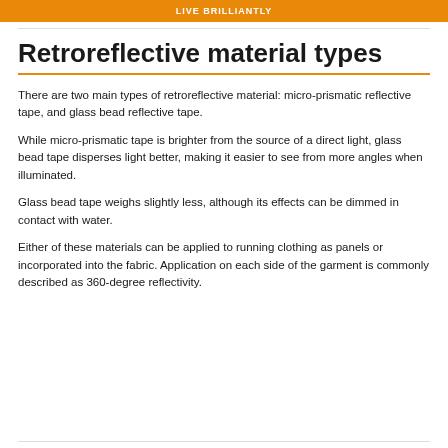LIVE BRILLIANTLY
Retroreflective material types
There are two main types of retroreflective material: micro-prismatic reflective tape, and glass bead reflective tape.
While micro-prismatic tape is brighter from the source of a direct light, glass bead tape disperses light better, making it easier to see from more angles when illuminated.
Glass bead tape weighs slightly less, although its effects can be dimmed in contact with water.
Either of these materials can be applied to running clothing as panels or incorporated into the fabric. Application on each side of the garment is commonly described as 360-degree reflectivity.